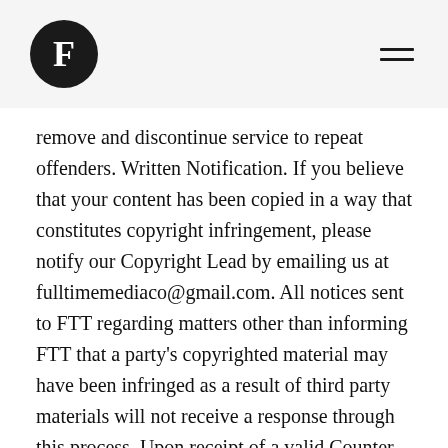F [logo] [hamburger menu]
remove and discontinue service to repeat offenders. Written Notification. If you believe that your content has been copied in a way that constitutes copyright infringement, please notify our Copyright Lead by emailing us at fulltimemediaco@gmail.com. All notices sent to FTT regarding matters other than informing FTT that a party's copyrighted material may have been infringed as a result of third party materials will not receive a response through this process. Upon receipt of a valid Counter Notification containing the information as outlined above, the DMCA provides that the removed material will be restored or access re-enabled and FTT will comply with this requirement within a reasonable